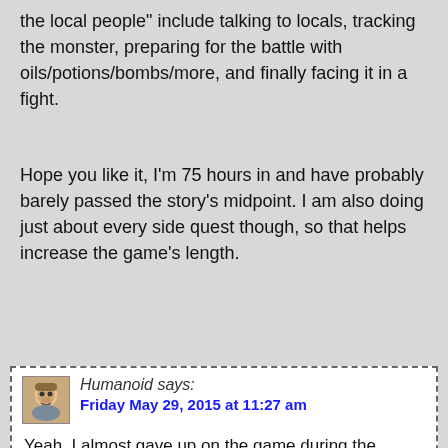the local people" include talking to locals, tracking the monster, preparing for the battle with oils/potions/bombs/more, and finally facing it in a fight.
Hope you like it, I'm 75 hours in and have probably barely passed the story's midpoint. I am also doing just about every side quest though, so that helps increase the game's length.
Reply
Humanoid says: Friday May 29, 2015 at 11:27 am
Yeah, I almost gave up on the game during the prologue – the courtyard fight in the castle stopping me cold for a while – but I'm glad I pressed on, and the game ended up being my game of the year.
I've played the Enhanced Edition for about...